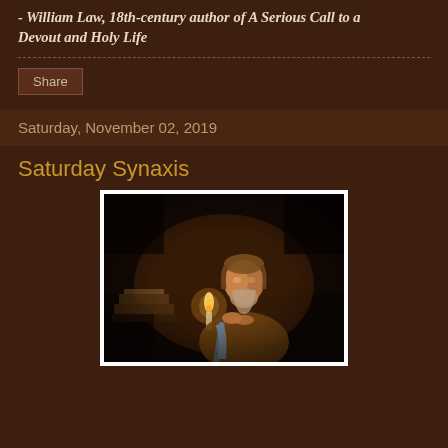- William Law, 18th-century author of A Serious Call to a Devout and Holy Life
Share
Saturday, November 02, 2019
Saturday Synaxis
[Figure (photo): Painting of an elderly bearded man praying by candlelight, with books and papers nearby, in dark tenebrism style]